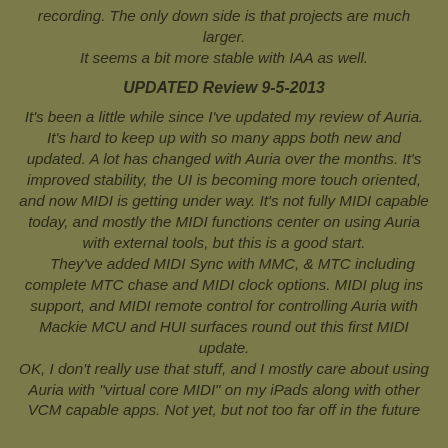recording. The only down side is that projects are much larger. It seems a bit more stable with IAA as well.
UPDATED Review 9-5-2013
It's been a little while since I've updated my review of Auria. It's hard to keep up with so many apps both new and updated. A lot has changed with Auria over the months. It's improved stability, the UI is becoming more touch oriented, and now MIDI is getting under way. It's not fully MIDI capable today, and mostly the MIDI functions center on using Auria with external tools, but this is a good start. They've added MIDI Sync with MMC, & MTC including complete MTC chase and MIDI clock options. MIDI plug ins support, and MIDI remote control for controlling Auria with Mackie MCU and HUI surfaces round out this first MIDI update. OK, I don't really use that stuff, and I mostly care about using Auria with "virtual core MIDI" on my iPads along with other VCM capable apps. Not yet, but not too far off in the future